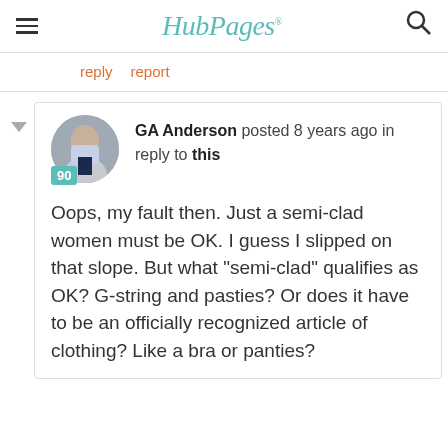HubPages
reply   report
GA Anderson posted 8 years ago in reply to this
Oops, my fault then. Just a semi-clad women must be OK. I guess I slipped on that slope. But what "semi-clad" qualifies as OK? G-string and pasties? Or does it have to be an officially recognized article of clothing? Like a bra or panties?